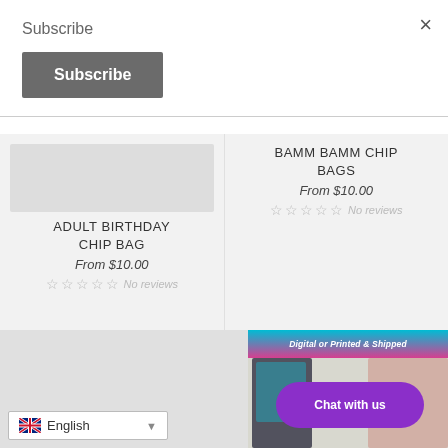Subscribe
Subscribe
×
ADULT BIRTHDAY CHIP BAG
From $10.00
No reviews
BAMM BAMM CHIP BAGS
From $10.00
No reviews
[Figure (screenshot): Product image with 'Digital or Printed & Shipped' banner and a Chat with us purple button overlay]
Chat with us
English